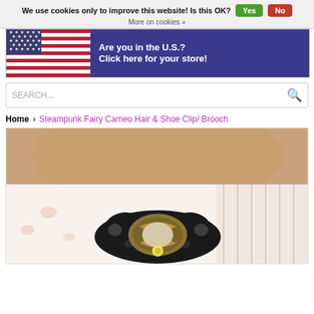We use cookies only to improve this website! Is this OK? Yes No
More on cookies »
[Figure (infographic): US flag banner with text: Are you in the U.S.? Click here for your store!]
SEARCH...
Home > Steampunk Fairy Cameo Hair & Shoe Clip/ Brooch
[Figure (photo): Close-up photo of a person's neck/chest area wearing a black lace steampunk fairy cameo brooch/hair clip with antique bronze metal frame and small yellow flower, on a white floral patterned fabric.]